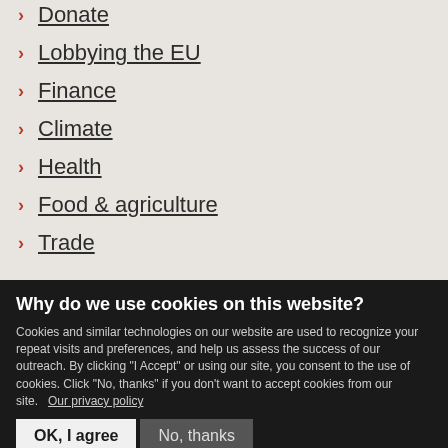Donate
Lobbying the EU
Finance
Climate
Health
Food & agriculture
Trade
Why do we use cookies on this website?
Cookies and similar technologies on our website are used to recognize your repeat visits and preferences, and help us assess the success of our outreach. By clicking "I Accept" or using our site, you consent to the use of cookies. Click "No, thanks" if you don't want to accept cookies from our site. Our privacy policy
OK, I agree  No, thanks